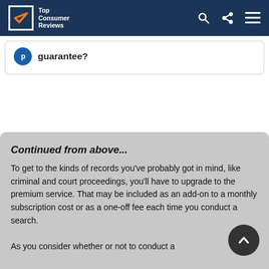Top Consumer Reviews
guarantee?
Continued from above...
To get to the kinds of records you've probably got in mind, like criminal and court proceedings, you'll have to upgrade to the premium service. That may be included as an add-on to a monthly subscription cost or as a one-off fee each time you conduct a search.
As you consider whether or not to conduct a